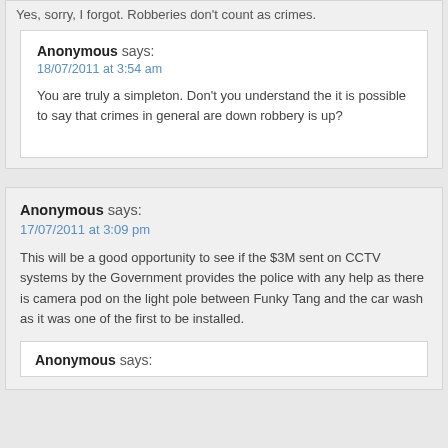Yes, sorry, I forgot. Robberies don't count as crimes.
Anonymous says:
18/07/2011 at 3:54 am
You are truly a simpleton. Don't you understand the it is possible to say that crimes in general are down robbery is up?
Anonymous says:
17/07/2011 at 3:09 pm
This will be a good opportunity to see if the $3M sent on CCTV systems by the Government provides the police with any help as there is camera pod on the light pole between Funky Tang and the car wash as it was one of the first to be installed.
Anonymous says: